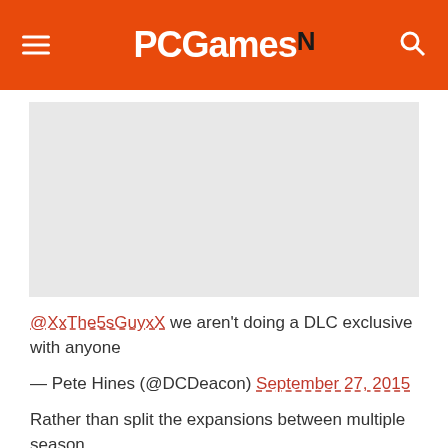PCGamesN
[Figure (photo): Gray placeholder image area representing an embedded image or advertisement]
@XxThe5sGuyxX we aren't doing a DLC exclusive with anyone
— Pete Hines (@DCDeacon) September 27, 2015
Rather than split the expansions between multiple season